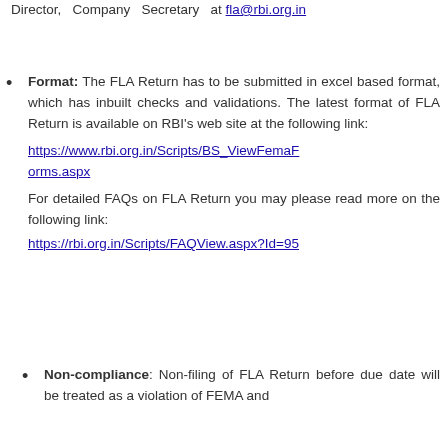Director, Company Secretary at fla@rbi.org.in
Format: The FLA Return has to be submitted in excel based format, which has inbuilt checks and validations. The latest format of FLA Return is available on RBI's web site at the following link: https://www.rbi.org.in/Scripts/BS_ViewFemaForms.aspx For detailed FAQs on FLA Return you may please read more on the following link: https://rbi.org.in/Scripts/FAQView.aspx?Id=95
Non-compliance: Non-filing of FLA Return before due date will be treated as a violation of FEMA and